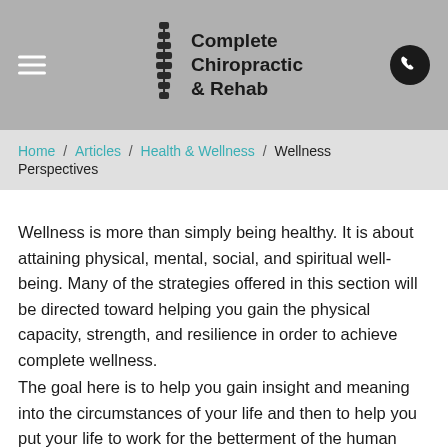Complete Chiropractic & Rehab
Home / Articles / Health & Wellness / Wellness Perspectives
Wellness is more than simply being healthy. It is about attaining physical, mental, social, and spiritual well-being. Many of the strategies offered in this section will be directed toward helping you gain the physical capacity, strength, and resilience in order to achieve complete wellness.
The goal here is to help you gain insight and meaning into the circumstances of your life and then to help you put your life to work for the betterment of the human